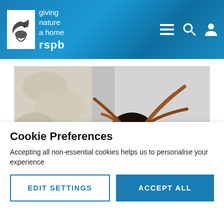[Figure (logo): RSPB logo with bird silhouette and tagline 'giving nature a home']
[Figure (photo): Close-up photograph of a dark brown spider with orange-brown legs against a white/cream textured surface]
Cookie Preferences
Accepting all non-essential cookies helps us to personalise your experience
EDIT SETTINGS
ACCEPT ALL